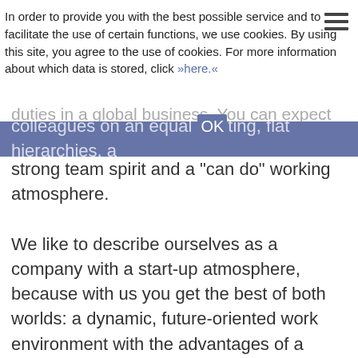In order to provide you with the best possible service and to facilitate the use of certain functions, we use cookies. By using this site, you agree to the use of cookies. For more information about which data is stored, click »here.«
duties in a global business. You can expect
colleagues on an equal OKting, flat hierarchies, a strong team spirit and a "can do" working atmosphere.
We like to describe ourselves as a company with a start-up atmosphere, because with us you get the best of both worlds: a dynamic, future-oriented work environment with the advantages of a corporation.
We are a company of diversity, tolerance and openness. That is why we want people of all ages and disabilities, religions, sexual orientations and identities, ethnic origins, nationalities and